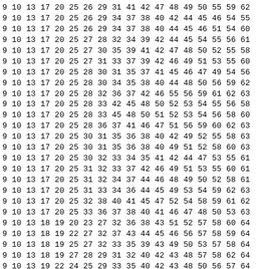9 10 13 17 20 25 26 29 31 41 42 47 48 49 50 55 59 62
9 10 13 17 20 25 26 29 34 37 38 40 42 44 45 46 54 55
9 10 13 17 20 25 26 29 34 37 38 40 44 45 46 51 54 60
9 10 13 17 20 25 27 28 32 34 39 42 44 45 54 55 56 61
9 10 13 17 20 25 27 30 35 39 41 42 47 48 50 52 55 58
9 10 13 17 20 25 27 31 33 37 39 42 46 49 51 53 55 60
9 10 13 17 20 25 28 30 31 35 37 41 45 46 47 49 54 56
9 10 13 17 20 25 28 30 34 35 38 40 44 48 50 56 59 62
9 10 13 17 20 25 28 32 36 37 42 46 55 56 59 61 62 63
9 10 13 17 20 25 28 33 42 45 48 50 52 53 54 55 56 58
9 10 13 17 20 25 28 33 45 48 50 51 52 53 54 56 58 60
9 10 13 17 20 25 28 36 37 41 46 47 51 56 59 60 62 63
9 10 13 17 20 25 30 31 35 36 38 40 42 49 52 55 58 63
9 10 13 17 20 25 30 31 35 36 38 40 49 51 52 58 60 63
9 10 13 17 20 25 30 32 33 34 35 41 42 44 47 53 55 61
9 10 13 17 20 25 31 32 33 37 42 46 49 51 53 55 60 61
9 10 13 17 20 25 31 32 34 37 44 46 48 49 50 52 58 61
9 10 13 17 20 25 31 33 34 36 44 45 49 53 54 59 62 63
9 10 13 17 20 25 32 38 40 41 45 47 52 54 58 59 61 62
9 10 13 17 20 25 33 36 37 38 40 41 46 47 48 50 53 63
9 10 13 18 19 20 23 27 32 36 38 43 51 52 57 58 60 64
9 10 13 18 19 22 27 32 37 43 44 45 46 56 57 58 59 64
9 10 13 18 19 25 27 32 33 35 39 43 49 50 53 57 58 64
9 10 13 18 19 27 28 29 31 32 40 42 43 48 57 58 62 64
9 10 13 19 22 24 25 29 33 35 40 42 43 48 50 56 57 64
9 10 13 19 22 28 31 36 39 43 47 48 49 53 56 57 62 64
9 10 13 19 25 28 31 33 35 37 43 44 45 48 50 57 59 64
9 10 13 19 29 37 39 40 42 43 44 45 49 53 57 59 62 64
9 10 13 22 25 27 29 31 33 42 43 45 48 49 57 58 59 64
9 10 13 30 33 37 38 43 45 46 48 50 51 55 57 58 60 64